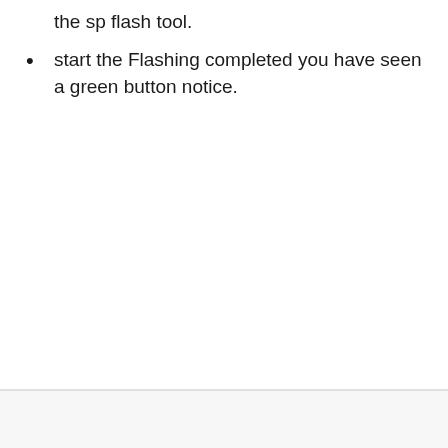the sp flash tool.
start the Flashing completed you have seen a green button notice.